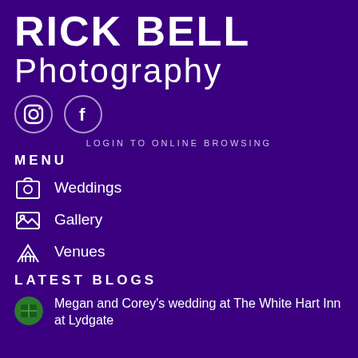Rick Bell Photography
[Figure (logo): Instagram and Facebook social media icons in circles]
LOGIN TO ONLINE BROWSING
MENU
Weddings
Gallery
Venues
LATEST BLOGS
Megan and Corey's wedding at The White Hart Inn at Lydgate